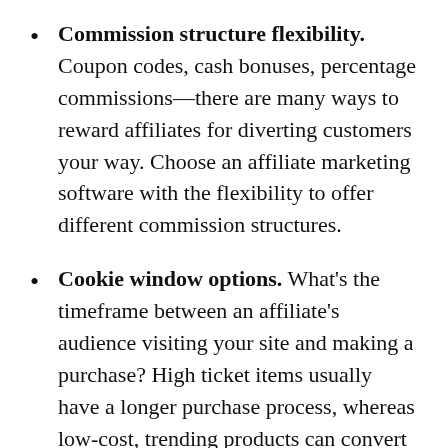Commission structure flexibility. Coupon codes, cash bonuses, percentage commissions—there are many ways to reward affiliates for diverting customers your way. Choose an affiliate marketing software with the flexibility to offer different commission structures.
Cookie window options. What's the timeframe between an affiliate's audience visiting your site and making a purchase? High ticket items usually have a longer purchase process, whereas low-cost, trending products can convert in one session. Choose an affiliate tracking software that allows custom cookie window attribution depending on your average sales cycle.